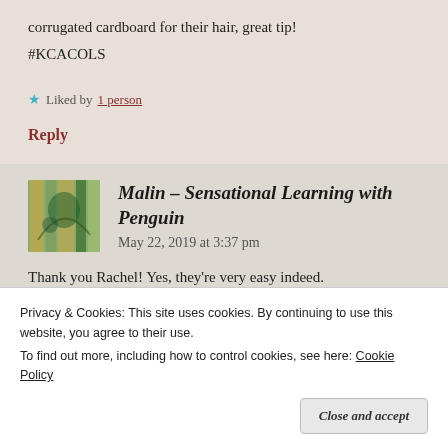corrugated cardboard for their hair, great tip! #KCACOLS
Liked by 1 person
Reply
Malin - Sensational Learning with Penguin   May 22, 2019 at 3:37 pm
Thank you Rachel! Yes, they're very easy indeed.
Privacy & Cookies: This site uses cookies. By continuing to use this website, you agree to their use.
To find out more, including how to control cookies, see here: Cookie Policy
Close and accept
Reply